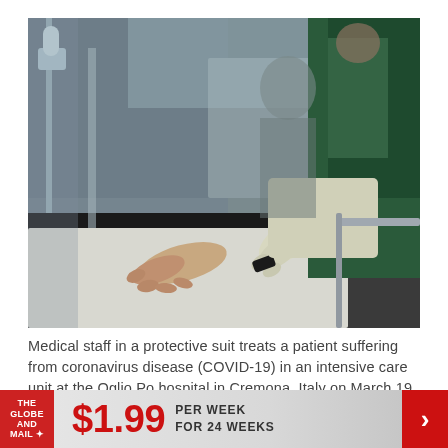[Figure (photo): Medical staff in a green protective suit and latex gloves treating a patient lying on a hospital bed in an intensive care unit. The medical worker is attaching a pulse oximeter or similar device to the patient's finger. The scene is in a hospital setting with medical equipment visible in the background.]
Medical staff in a protective suit treats a patient suffering from coronavirus disease (COVID-19) in an intensive care unit at the Oglio Po hospital in Cremona, Italy on March 19, 2020.
[Figure (infographic): Advertisement banner for The Globe and Mail newspaper. Red logo on left with 'THE GLOBE AND MAIL' text in white. Large red '$1.99' price text in center. 'PER WEEK FOR 24 WEEKS' text. Red arrow button on right.]